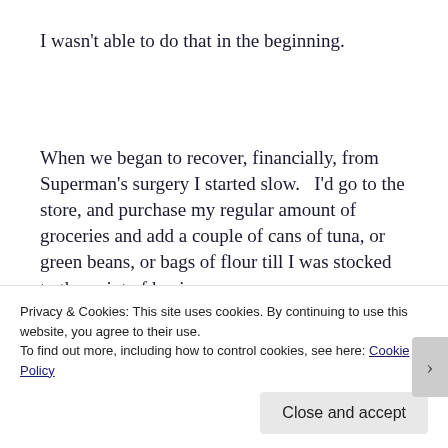I wasn't able to do that in the beginning.
When we began to recover, financially, from Superman's surgery I started slow.   I'd go to the store, and purchase my regular amount of groceries and add a couple of cans of tuna, or green beans, or bags of flour till I was stocked to the point of having
Privacy & Cookies: This site uses cookies. By continuing to use this website, you agree to their use.
To find out more, including how to control cookies, see here: Cookie Policy
Close and accept